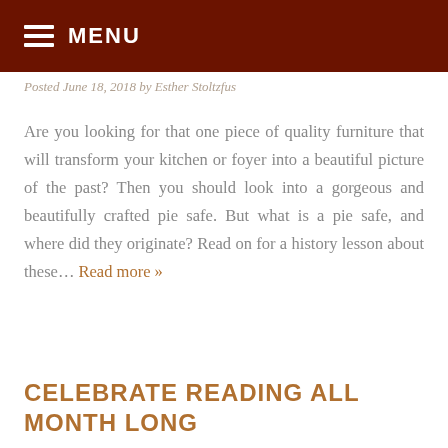MENU
Posted June 18, 2018 by Esther Stoltzfus
Are you looking for that one piece of quality furniture that will transform your kitchen or foyer into a beautiful picture of the past? Then you should look into a gorgeous and beautifully crafted pie safe. But what is a pie safe, and where did they originate? Read on for a history lesson about these… Read more »
CELEBRATE READING ALL MONTH LONG